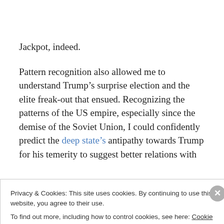Jackpot, indeed.
Pattern recognition also allowed me to understand Trump’s surprise election and the elite freak-out that ensued. Recognizing the patterns of the US empire, especially since the demise of the Soviet Union, I could confidently predict the deep state’s antipathy towards Trump for his temerity to suggest better relations with
Privacy & Cookies: This site uses cookies. By continuing to use this website, you agree to their use.
To find out more, including how to control cookies, see here: Cookie Policy